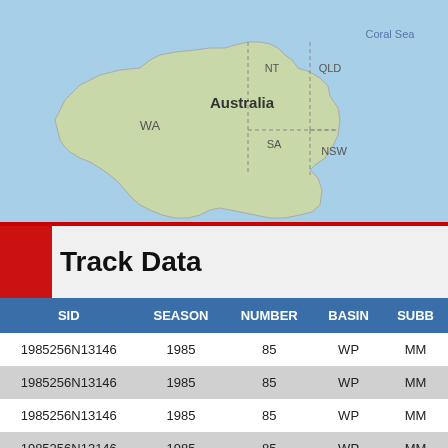[Figure (map): Map of Australia showing states WA, NT, SA, QLD, NSW and Coral Sea label]
Track Data
| SID | SEASON | NUMBER | BASIN | SUBB... |
| --- | --- | --- | --- | --- |
| 1985256N13146 | 1985 | 85 | WP | MM... |
| 1985256N13146 | 1985 | 85 | WP | MM... |
| 1985256N13146 | 1985 | 85 | WP | MM... |
| 1985256N13146 | 1985 | 85 | WP | MM... |
| 1985256N13146 | 1985 | 85 | WP | MM... |
| 1985256N13146 | 1985 | 85 | WP | MM... |